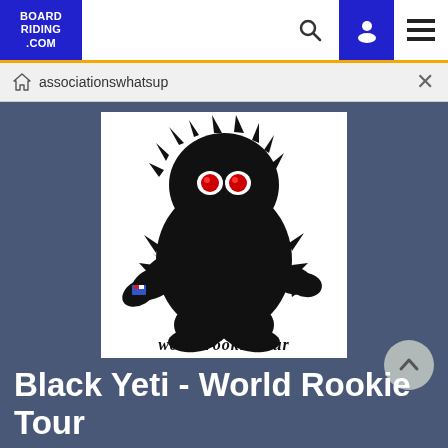BOARD RIDING .COM
associationswhatsup
[Figure (logo): Black Yeti - World Rookie Tour logo: a large black yeti/sasquatch silhouette with red glowing eyes holding a small item, with Gothic-style text 'world rookie tour' at the bottom, white background.]
Black Yeti - World Rookie Tour